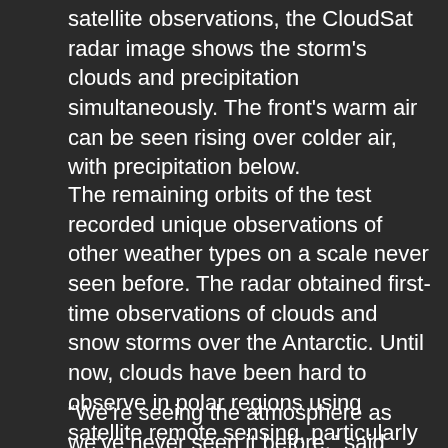satellite observations, the CloudSat radar image shows the storm's clouds and precipitation simultaneously. The front's warm air can be seen rising over colder air, with precipitation below.
The remaining orbits of the test recorded unique observations of other weather types on a scale never seen before. The radar obtained first-time observations of clouds and snow storms over the Antarctic. Until now, clouds have been hard to observe in polar regions using satellite remote sensing, particularly during the polar night season. The CloudSat observations also provided new views of sloping, frontal clouds and thunderstorms over Africa, both as individual storms and as part of larger tropical storm systems.
“We’re seeing the atmosphere as we’ve never seen it before,” said Deborah Vane, CloudSat deputy principal